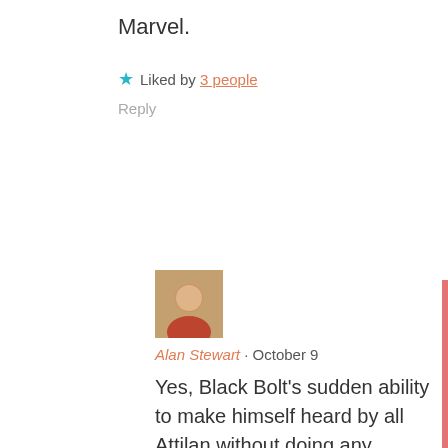Marvel.
★ Liked by 3 people
Reply
[Figure (photo): Avatar photo of a person wearing a red shirt]
Alan Stewart · October 9
Yes, Black Bolt's sudden ability to make himself heard by all Attilan without doing any damage in the process is awfully convenient, isn't it? I can't swear that he never pulled this trick again, though no instances immediately come to mind.
I hadn't realized that Cap's first brief resignation from the Avengers coincided